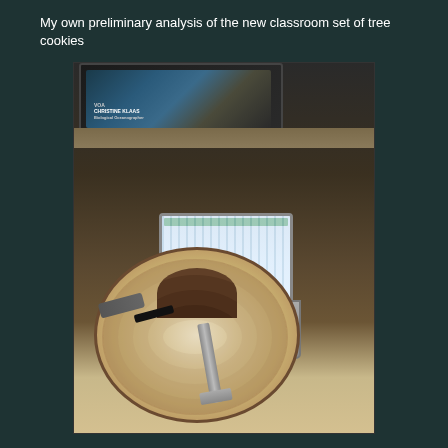My own preliminary analysis of the new classroom set of tree cookies
[Figure (photo): A photo of a workspace with a laptop open to a spreadsheet, sitting on a large circular tree cookie cross-section (tree disc) with visible growth rings and a caliper tool. In the background is a TV showing a person labeled 'Christine Klaas - Biological Oceanographer', a bookshelf/cage, and a wheelchair. Remote controls and a marker are visible on the table.]